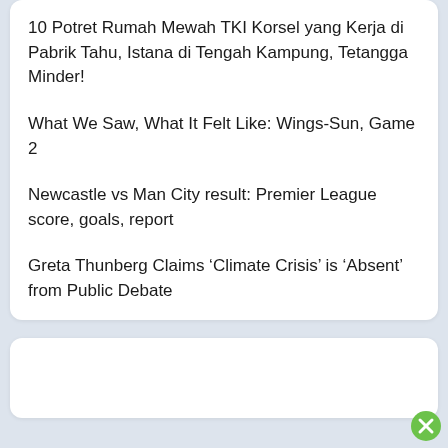10 Potret Rumah Mewah TKI Korsel yang Kerja di Pabrik Tahu, Istana di Tengah Kampung, Tetangga Minder!
What We Saw, What It Felt Like: Wings-Sun, Game 2
Newcastle vs Man City result: Premier League score, goals, report
Greta Thunberg Claims ‘Climate Crisis’ is ‘Absent’ from Public Debate